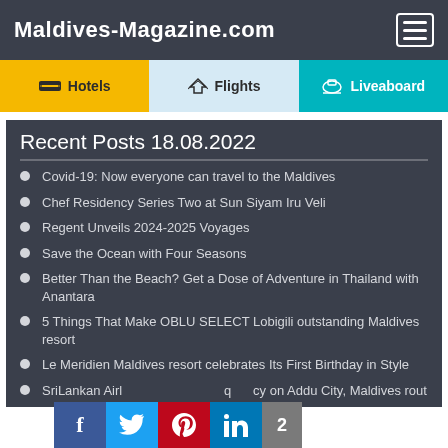Maldives-Magazine.com
[Figure (infographic): Navigation tabs: Hotels (yellow), Flights (light blue), Liveaboard (teal)]
Recent Posts 18.08.2022
Covid-19: Now everyone can travel to the Maldives
Chef Residency Series Two at Sun Siyam Iru Veli
Regent Unveils 2024-2025 Voyages
Save the Ocean with Four Seasons
Better Than the Beach? Get a Dose of Adventure in Thailand with Anantara
5 Things That Make OBLU SELECT Lobigili outstanding Maldives resort
Le Meridien Maldives resort celebrates Its First Birthday in Style
SriLankan Airlines increases frequency on Addu City, Maldives rout